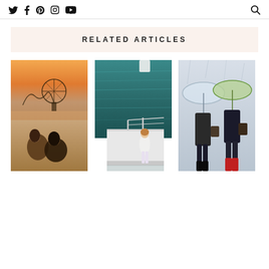Twitter Facebook Pinterest Instagram YouTube [search]
RELATED ARTICLES
[Figure (photo): Two women sitting on beach sand at sunset with a Ferris wheel and roller coaster in the background]
[Figure (photo): Woman in white top and patterned pants standing on a white dock/platform over teal ocean water]
[Figure (photo): Two people from behind holding clear umbrella on a rainy day, one in dark coat and boots, one in colorful outfit with red rain boots]